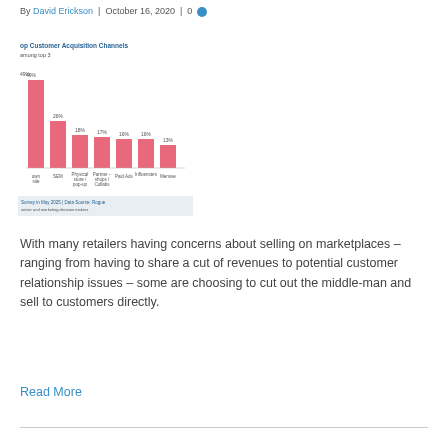By David Erickson | October 16, 2020 | 0
[Figure (bar-chart): Top Customer Acquisition Channels among top 3]
With many retailers having concerns about selling on marketplaces – ranging from having to share a cut of revenues to potential customer relationship issues – some are choosing to cut out the middle-man and sell to customers directly.
Read More